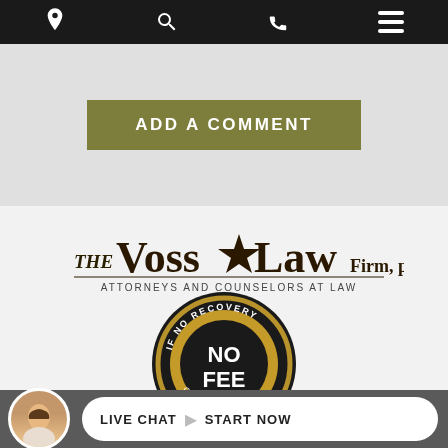[Figure (screenshot): Mobile website navigation bar with location pin, search, phone, and menu icons on dark background]
ADD A COMMENT
[Figure (logo): The Voss Law Firm, P.C. logo with star — Attorneys and Counselors at Law]
[Figure (illustration): If No Recovery No Fee gold and black badge seal]
[Figure (illustration): Live Chat with avatar photo and Start Now button in bottom bar]